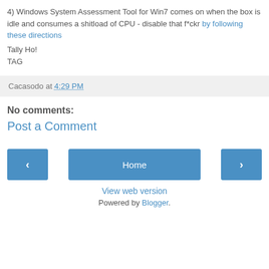4) Windows System Assessment Tool for Win7 comes on when the box is idle and consumes a shitload of CPU - disable that f*ckr by following these directions
Tally Ho!
TAG
Cacasodo at 4:29 PM
No comments:
Post a Comment
< Home > View web version Powered by Blogger.